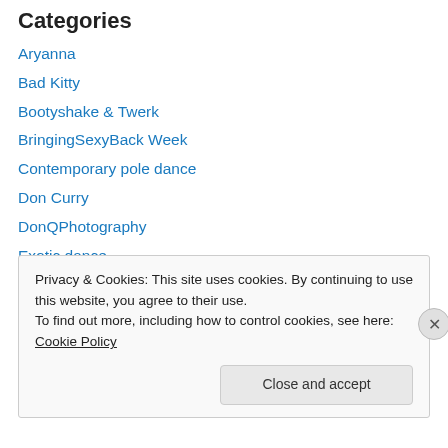Categories
Aryanna
Bad Kitty
Bootyshake & Twerk
BringingSexyBack Week
Contemporary pole dance
Don Curry
DonQPhotography
Exotic dance
Exotic pole dance
Floorwork
hula hoop dance & fit
MyPictures
Privacy & Cookies: This site uses cookies. By continuing to use this website, you agree to their use. To find out more, including how to control cookies, see here: Cookie Policy
Close and accept